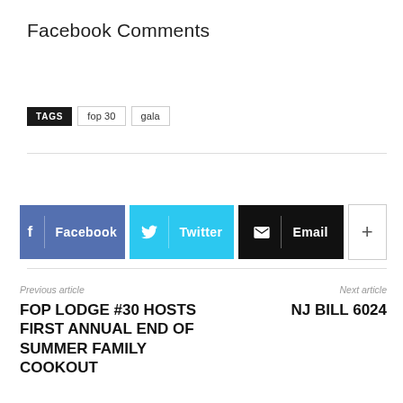Facebook Comments
TAGS  fop 30  gala
[Figure (infographic): Social share buttons: Facebook, Twitter, Email, and a plus (+) button]
Previous article
FOP LODGE #30 HOSTS FIRST ANNUAL END OF SUMMER FAMILY COOKOUT
Next article
NJ Bill 6024